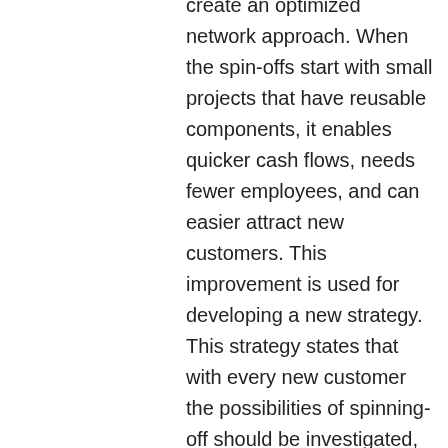create an optimized network approach. When the spin-offs start with small projects that have reusable components, it enables quicker cash flows, needs fewer employees, and can easier attract new customers. This improvement is used for developing a new strategy. This strategy states that with every new customer the possibilities of spinning-off should be investigated, instead of waiting until the organization has grown until 25 employees. It is possible to spin-off if there is a motivated entrepreneur, the parent has several qualified employees available, sufficient financial capital is at hand, and the growth strategy is